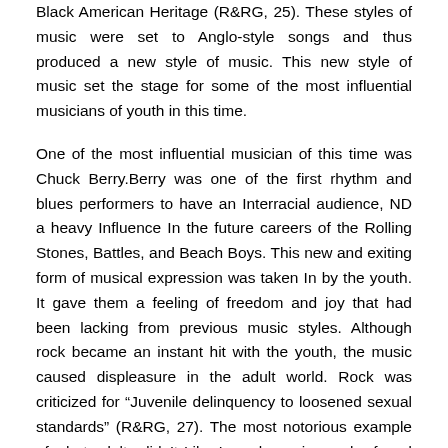Black American Heritage (R&RG, 25). These styles of music were set to Anglo-style songs and thus produced a new style of music. This new style of music set the stage for some of the most influential musicians of youth in this time.
One of the most influential musician of this time was Chuck Berry.Berry was one of the first rhythm and blues performers to have an Interracial audience, ND a heavy Influence In the future careers of the Rolling Stones, Battles, and Beach Boys. This new and exiting form of musical expression was taken In by the youth. It gave them a feeling of freedom and joy that had been lacking from previous music styles. Although rock became an instant hit with the youth, the music caused displeasure in the adult world. Rock was criticized for “Juvenile delinquency to loosened sexual standards” (R&RG, 27). The most notorious example of what adults didn’t Like In rock music can be found In Elvis Presley.